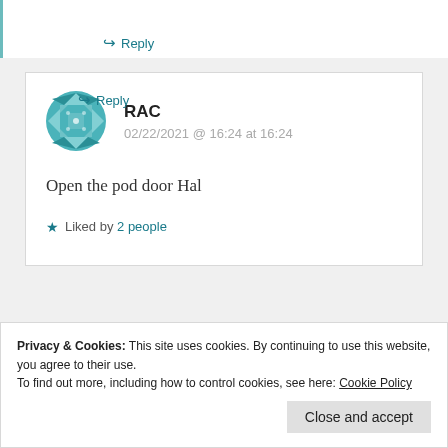↪ Reply
RAC
02/22/2021 @ 16:24 at 16:24
Open the pod door Hal
★ Liked by 2 people
↪ Reply
Privacy & Cookies: This site uses cookies. By continuing to use this website, you agree to their use.
To find out more, including how to control cookies, see here: Cookie Policy
Close and accept